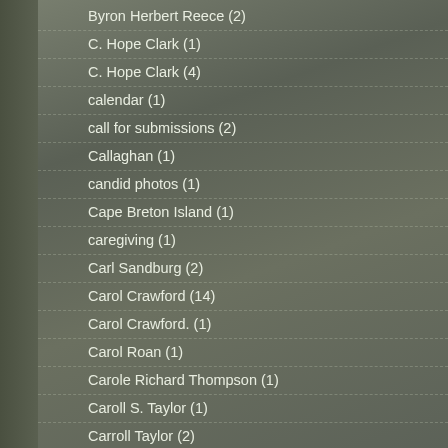Byron Herbert Reece (2)
C. Hope Clark (1)
C. Hope Clark (4)
calendar (1)
call for submissions (2)
Callaghan (1)
candid photos (1)
Cape Breton Island (1)
caregiving (1)
Carl Sandburg (2)
Carol Crawford (14)
Carol Crawford. (1)
Carol Roan (1)
Carole Richard Thompson (1)
Caroll S. Taylor (1)
Carroll Taylor (2)
Cary Carden (1)
Cary NC (1)
Catawba College (2)